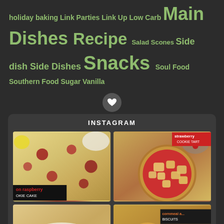holiday baking Link Parties Link Up Low Carb Main Dishes Recipe Salad Scones Side dish Side Dishes Snacks Soul Food Southern Food Sugar Vanilla
[Figure (photo): Instagram photo grid section with 4 food photos: lemon raspberry cookie cake, strawberry cookie tart, plain biscuits, cornmeal biscuits]
INSTAGRAM